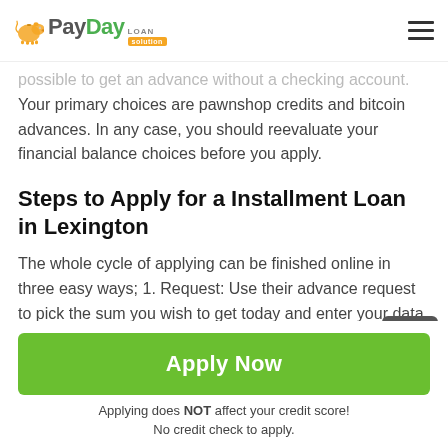PayDay Loan Solution
possible to get an advance without a checking account. Your primary choices are pawnshop credits and bitcoin advances. In any case, you should reevaluate your financial balance choices before you apply.
Steps to Apply for a Installment Loan in Lexington
The whole cycle of applying can be finished online in three easy ways; 1. Request: Use their advance request to pick the sum you wish to get today and enter your data. 2. Connect: They will go this data through the online Installment loans Lexington organization and connect you
Apply Now
Applying does NOT affect your credit score!
No credit check to apply.